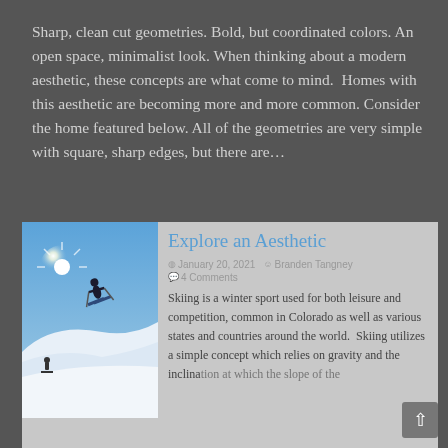Sharp, clean cut geometries. Bold, but coordinated colors. An open space, minimalist look. When thinking about a modern aesthetic, these concepts are what come to mind.  Homes with this aesthetic are becoming more and more common. Consider the home featured below. All of the geometries are very simple with square, sharp edges, but there are…
[Figure (photo): Photo of a skier jumping in bright sunlight against a blue sky with snowy slopes below]
Explore an Aesthetic
January 20, 2021   Branden Tangney
4 Comments
Skiing is a winter sport used for both leisure and competition, common in Colorado as well as various states and countries around the world.  Skiing utilizes a simple concept which relies on gravity and the inclination at which the slope of the